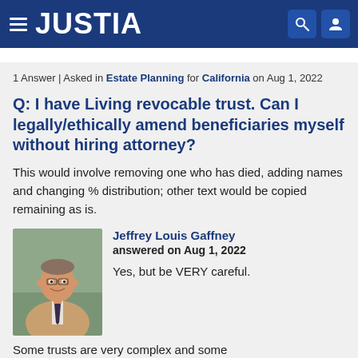JUSTIA
1 Answer | Asked in Estate Planning for California on Aug 1, 2022
Q: I have Living revocable trust. Can I legally/ethically amend beneficiaries myself without hiring attorney?
This would involve removing one who has died, adding names and changing % distribution; other text would be copied remaining as is.
[Figure (photo): Headshot photo of attorney Jeffrey Louis Gaffney, a middle-aged man in a tan blazer and tie, smiling, seated in an office]
Jeffrey Louis Gaffney
answered on Aug 1, 2022

Yes, but be VERY careful.

Some trusts are very complex and some
Some trusts are very complex and some